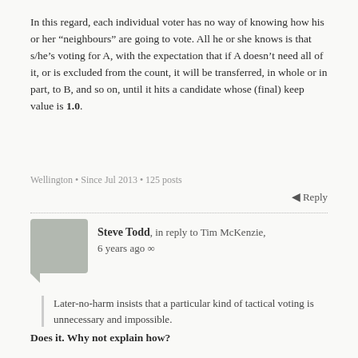In this regard, each individual voter has no way of knowing how his or her “neighbours” are going to vote. All he or she knows is that s/he’s voting for A, with the expectation that if A doesn’t need all of it, or is excluded from the count, it will be transferred, in whole or in part, to B, and so on, until it hits a candidate whose (final) keep value is 1.0.
Wellington • Since Jul 2013 • 125 posts
← Reply
Steve Todd, in reply to Tim McKenzie, 6 years ago ∞
Later-no-harm insists that a particular kind of tactical voting is unnecessary and impossible.
Does it. Why not explain how?
But why is it more important to rule out that kind of tactical voting, while ignoring all the other possible kinds?